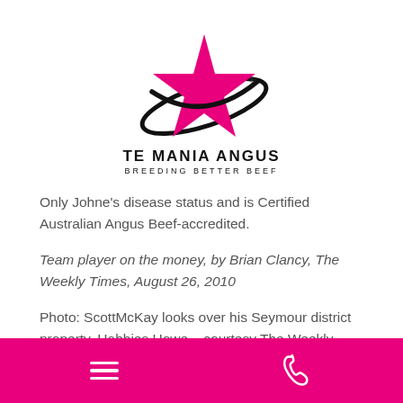[Figure (logo): Te Mania Angus logo — pink star with orbital ring, company name 'TE MANIA ANGUS' and tagline 'BREEDING BETTER BEEF']
Only Johne's disease status and is Certified Australian Angus Beef-accredited.
Team player on the money, by Brian Clancy, The Weekly Times, August 26, 2010
Photo: ScottMcKay looks over his Seymour district property, Habbies Howe – courtesy The Weekly Times
EU Accredited
[hamburger menu icon] [phone icon]